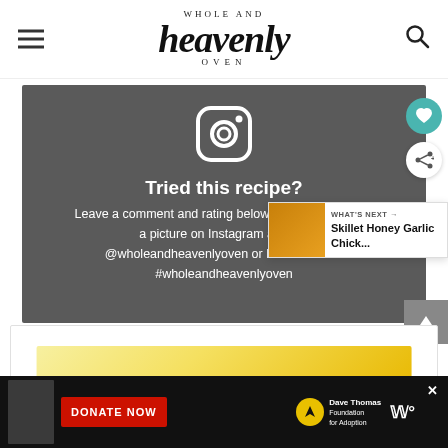WHOLE AND heavenly OVEN
[Figure (screenshot): Dark gray promotional box with Instagram icon, heading 'Tried this recipe?', and text inviting users to comment, rate, and tag @wholeandheavenlyoven or use #wholeandheavenlyoven on Instagram. Social share and heart buttons visible on the right. 'WHAT'S NEXT' card showing 'Skillet Honey Garlic Chick...' with a food thumbnail.]
[Figure (screenshot): White card at bottom with a yellow/golden image partially visible. Advertisement bar at the bottom with a boy's photo, 'DONATE NOW' red button, Dave Thomas Foundation for Adoption logo, and W logo.]